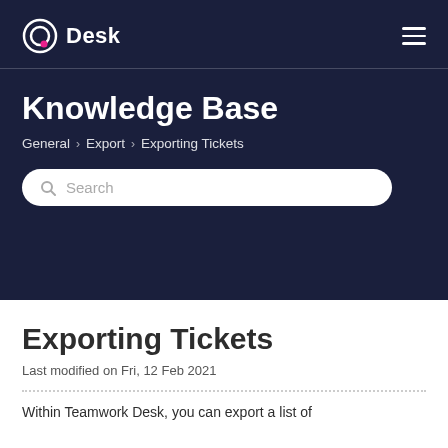Desk
Knowledge Base
General › Export › Exporting Tickets
Search
Exporting Tickets
Last modified on Fri, 12 Feb 2021
Within Teamwork Desk, you can export a list of